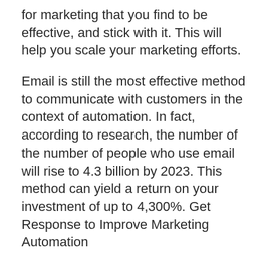for marketing that you find to be effective, and stick with it. This will help you scale your marketing efforts.
Email is still the most effective method to communicate with customers in the context of automation. In fact, according to research, the number of the number of people who use email will rise to 4.3 billion by 2023. This method can yield a return on your investment of up to 4,300%. Get Response to Improve Marketing Automation
Uncategorised
Infusion Marketing Automation
B2B Email Marketing Automation